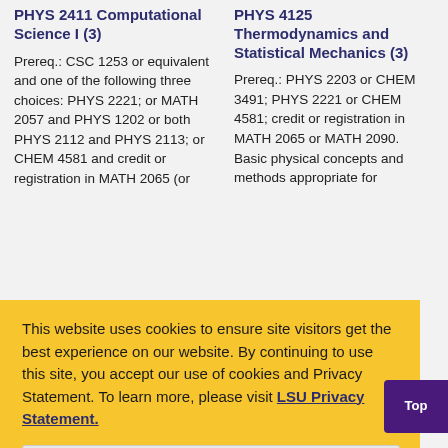PHYS 2411 Computational Science I (3)
Prereq.: CSC 1253 or equivalent and one of the following three choices: PHYS 2221; or MATH 2057 and PHYS 1202 or both PHYS 2112 and PHYS 2113; or CHEM 4581 and credit or registration in MATH 2065 (or
PHYS 4125 Thermodynamics and Statistical Mechanics (3)
Prereq.: PHYS 2203 or CHEM 3491; PHYS 2221 or CHEM 4581; credit or registration in MATH 2065 or MATH 2090. Basic physical concepts and methods appropriate for
This website uses cookies to ensure site visitors get the best experience on our website. By continuing to use this site, you accept our use of cookies and Privacy Statement. To learn more, please visit LSU Privacy Statement.
I agree.
Top
1651 and credit or registration in MATH 2065 or MATH 2090.
Electromagnetic Waves (3)